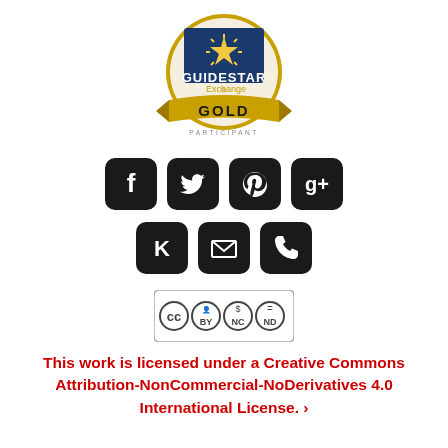[Figure (logo): GuideStar Exchange Gold Participant badge/seal with blue star and gold ribbon]
[Figure (logo): Social media icons row 1: Facebook, Twitter, Pinterest, Google+]
[Figure (logo): Social media icons row 2: Klout (K), Email envelope, Phone]
[Figure (logo): Creative Commons BY-NC-ND license badge]
This work is licensed under a Creative Commons Attribution-NonCommercial-NoDerivatives 4.0 International License. ›